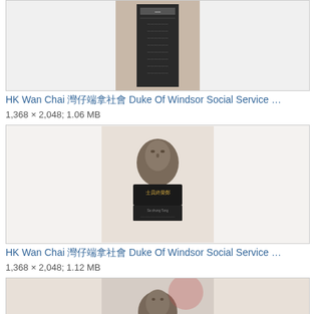[Figure (photo): Dark vertical plaque or monument with Chinese text and decorative pattern]
HK Wan Chai 灣仔端拿社會 Duke Of Windsor Social Service …
1,368 × 2,048; 1.06 MB
[Figure (photo): Bronze bust sculpture of a man on a podium with Chinese characters reading 士員終榮鄭]
HK Wan Chai 灣仔端拿社會 Duke Of Windsor Social Service …
1,368 × 2,048; 1.12 MB
[Figure (photo): Bronze bust sculpture of a man, partial view from below with blurred background]